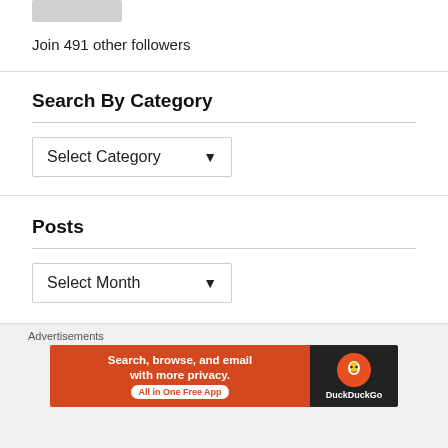[Figure (other): Gray placeholder image box (partial, cropped at top)]
Join 491 other followers
Search By Category
[Figure (screenshot): Select Category dropdown widget]
Posts
[Figure (screenshot): Select Month dropdown widget]
Advertisements
[Figure (other): DuckDuckGo advertisement banner: Search, browse, and email with more privacy. All in One Free App. DuckDuckGo logo on dark right panel.]